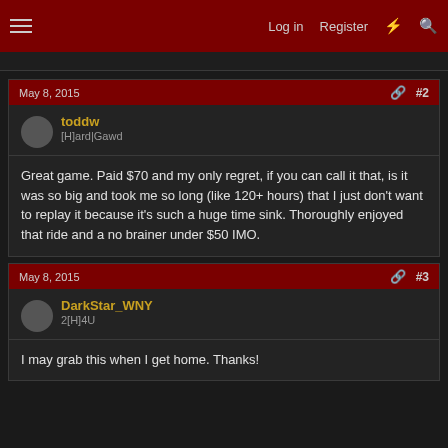Log in | Register
May 8, 2015 #2
toddw
[H]ard|Gawd
Great game. Paid $70 and my only regret, if you can call it that, is it was so big and took me so long (like 120+ hours) that I just don't want to replay it because it's such a huge time sink. Thoroughly enjoyed that ride and a no brainer under $50 IMO.
May 8, 2015 #3
DarkStar_WNY
2[H]4U
I may grab this when I get home. Thanks!